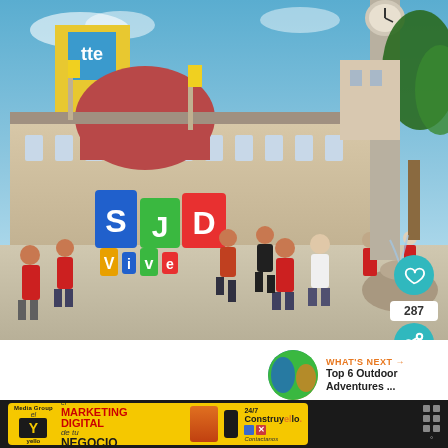[Figure (photo): Outdoor plaza scene in San José, Costa Rica with people walking near colorful SJD VIVE letters sculpture, historic building with red dome in background, clock tower on right, trees. Heart/like button showing 287 likes and share button overlaid on bottom right of image.]
287
WHAT'S NEXT → Top 6 Outdoor Adventures ...
[Figure (photo): Circular thumbnail image showing colorful landscape/nature photo for 'Top 6 Outdoor Adventures' article]
[Figure (other): Advertisement banner for Yello Marketing Digital and ConstruYello. Yellow background with text: yello, el MARKETING DIGITAL de tu NEGOCIO, 24/7, ConstruYello, Contactanos. Includes icons and close buttons.]